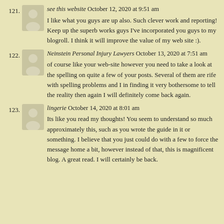121. see this website October 12, 2020 at 9:51 am
I like what you guys are up also. Such clever work and reporting! Keep up the superb works guys I've incorporated you guys to my blogroll. I think it will improve the value of my web site :).
122. Neinstein Personal Injury Lawyers October 13, 2020 at 7:51 am
of course like your web-site however you need to take a look at the spelling on quite a few of your posts. Several of them are rife with spelling problems and I in finding it very bothersome to tell the reality then again I will definitely come back again.
123. lingerie October 14, 2020 at 8:01 am
Its like you read my thoughts! You seem to understand so much approximately this, such as you wrote the guide in it or something. I believe that you just could do with a few to force the message home a bit, however instead of that, this is magnificent blog. A great read. I will certainly be back.